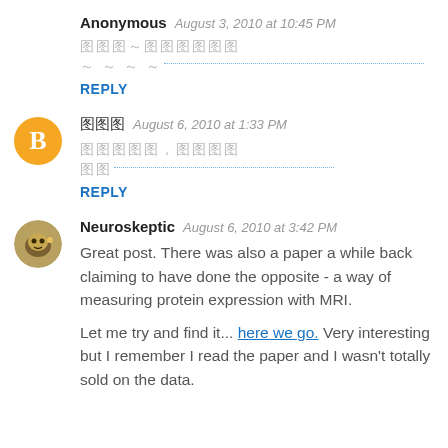Anonymous  August 3, 2010 at 10:45 PM
[redacted text in Asian characters]~[redacted text] ~~~~...
REPLY
[CJK characters]  August 6, 2010 at 1:33 PM
[redacted CJK text],[redacted] [redacted]...
REPLY
Neuroskeptic  August 6, 2010 at 3:42 PM
Great post. There was also a paper a while back claiming to have done the opposite - a way of measuring protein expression with MRI.
Let me try and find it... here we go. Very interesting but I remember I read the paper and I wasn't totally sold on the data.